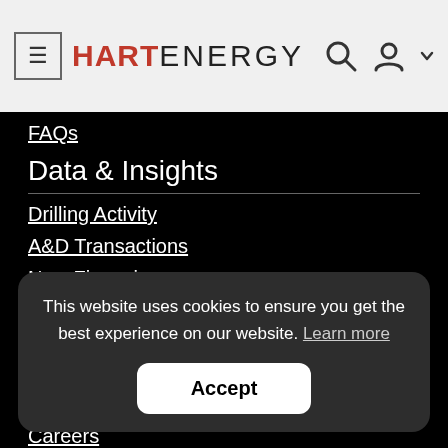HART ENERGY
FAQs
Data & Insights
Drilling Activity
A&D Transactions
New Financings
Who's Who
Markets Data
This website uses cookies to ensure you get the best experience on our website. Learn more
Accept
Careers